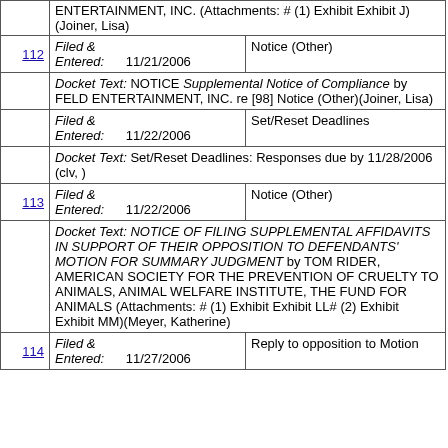| # | Filed & Entered | Type |
| --- | --- | --- |
|  | ENTERTAINMENT, INC. (Attachments: # (1) Exhibit Exhibit J)(Joiner, Lisa) |  |
| 112 | Filed & Entered: 11/21/2006 | Notice (Other) |
|  | Docket Text: NOTICE Supplemental Notice of Compliance by FELD ENTERTAINMENT, INC. re [98] Notice (Other)(Joiner, Lisa) |  |
|  | Filed & Entered: 11/22/2006 | Set/Reset Deadlines |
|  | Docket Text: Set/Reset Deadlines: Responses due by 11/28/2006 (clv, ) |  |
| 113 | Filed & Entered: 11/22/2006 | Notice (Other) |
|  | Docket Text: NOTICE OF FILING SUPPLEMENTAL AFFIDAVITS IN SUPPORT OF THEIR OPPOSITION TO DEFENDANTS' MOTION FOR SUMMARY JUDGMENT by TOM RIDER, AMERICAN SOCIETY FOR THE PREVENTION OF CRUELTY TO ANIMALS, ANIMAL WELFARE INSTITUTE, THE FUND FOR ANIMALS (Attachments: # (1) Exhibit Exhibit LL# (2) Exhibit Exhibit MM)(Meyer, Katherine) |  |
| 114 | Filed & Entered: 11/27/2006 | Reply to opposition to Motion |